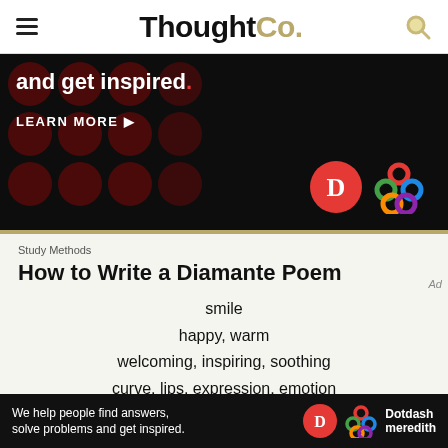ThoughtCo.
[Figure (screenshot): Advertisement banner with dark background showing text 'and get inspired.' with red dot, 'LEARN MORE' button, and logos for D (red circle) and a colorful geometric pattern.]
Study Methods
How to Write a Diamante Poem
smile
happy, warm
welcoming, inspiring, soothing
curve, lips, expression, emotion
disturbing, deterring, depressing
[Figure (screenshot): Bottom ad banner: 'We help people find answers, solve problems and get inspired.' with D logo and Dotdash meredith branding.]